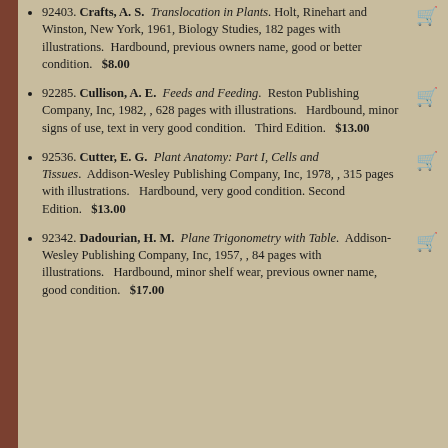92403. Crafts, A. S. Translocation in Plants. Holt, Rinehart and Winston, New York, 1961, Biology Studies, 182 pages with illustrations. Hardbound, previous owners name, good or better condition. $8.00
92285. Cullison, A. E. Feeds and Feeding. Reston Publishing Company, Inc, 1982, , 628 pages with illustrations. Hardbound, minor signs of use, text in very good condition. Third Edition. $13.00
92536. Cutter, E. G. Plant Anatomy: Part I, Cells and Tissues. Addison-Wesley Publishing Company, Inc, 1978, , 315 pages with illustrations. Hardbound, very good condition. Second Edition. $13.00
92342. Dadourian, H. M. Plane Trigonometry with Table. Addison-Wesley Publishing Company, Inc, 1957, , 84 pages with illustrations. Hardbound, minor shelf wear, previous owner name, good condition. $17.00